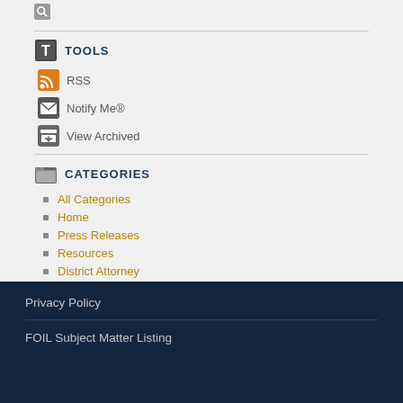TOOLS
RSS
Notify Me®
View Archived
CATEGORIES
All Categories
Home
Press Releases
Resources
District Attorney
Heroin Prevention
Heroin Prevention in the Headlines
Privacy Policy
FOIL Subject Matter Listing